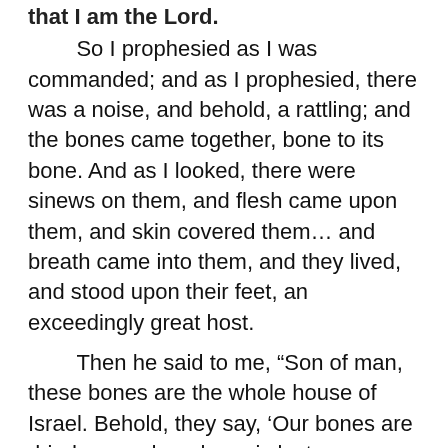that I am the Lord.
    So I prophesied as I was commanded; and as I prophesied, there was a noise, and behold, a rattling; and the bones came together, bone to its bone. And as I looked, there were sinews on them, and flesh came upon them, and skin covered them… and breath came into them, and they lived, and stood upon their feet, an exceedingly great host.
    Then he said to me, “Son of man, these bones are the whole house of Israel. Behold, they say, ‘Our bones are dried up, and our hope is lost; we are clean cut off.’ Therefore prophesy, and say to them, Thus says the Lord god, Behold, I will open your graves, and raise you from your graves, O my people, and I will bring you home into the land of Israel… And I will put my Spirit within you, and you shall live, and I will place you in your own land. Then